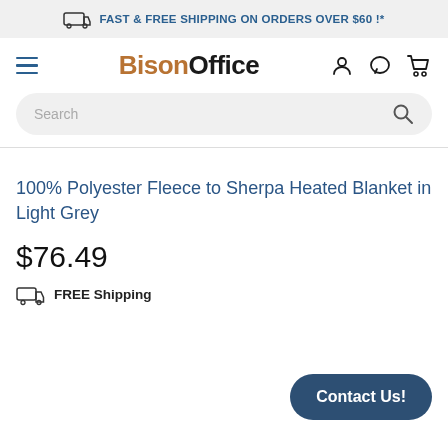FAST & FREE SHIPPING ON ORDERS OVER $60 !*
[Figure (logo): BisonOffice logo with hamburger menu and user/chat/cart icons]
[Figure (screenshot): Search bar with placeholder text 'Search' and magnifying glass icon]
100% Polyester Fleece to Sherpa Heated Blanket in Light Grey
$76.49
FREE Shipping
Contact Us!